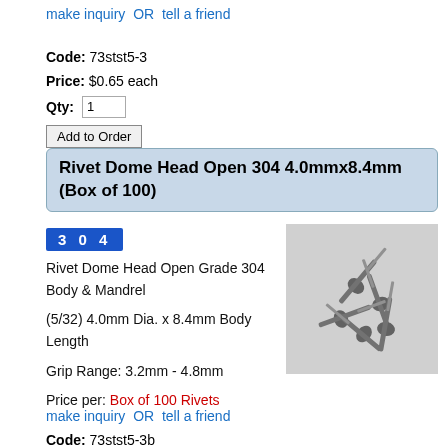make inquiry  OR  tell a friend
Code: 73stst5-3
Price: $0.65 each
Qty: 1
Add to Order
Rivet Dome Head Open 304 4.0mmx8.4mm (Box of 100)
[Figure (logo): Blue badge with white bold text '3 0 4']
[Figure (photo): Grayscale photo of multiple steel rivets with mandrels scattered on a light surface]
Rivet Dome Head Open Grade 304 Body & Mandrel

(5/32) 4.0mm Dia. x 8.4mm Body Length

Grip Range: 3.2mm - 4.8mm

Price per: Box of 100 Rivets
make inquiry  OR  tell a friend
Code: 73stst5-3b